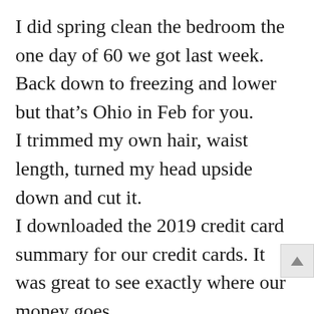I did spring clean the bedroom the one day of 60 we got last week. Back down to freezing and lower but that's Ohio in Feb for you.
I trimmed my own hair, waist length, turned my head upside down and cut it.
I downloaded the 2019 credit card summary for our credit cards. It was great to see exactly where our money goes.
Going to have to focus more on being frugal and saving